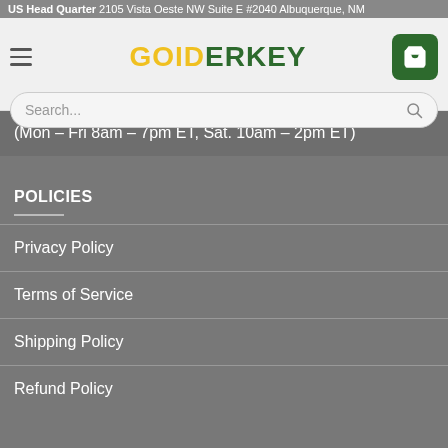US Head Quarter 2105 Vista Oeste NW Suite E #2040 Albuquerque, NM
[Figure (logo): GOIDERKEY logo with GOID in yellow/gold and ERKEY in dark green]
Search...
(Mon – Fri 8am – 7pm ET, Sat. 10am – 2pm ET)
POLICIES
Privacy Policy
Terms of Service
Shipping Policy
Refund Policy
SUPPORT